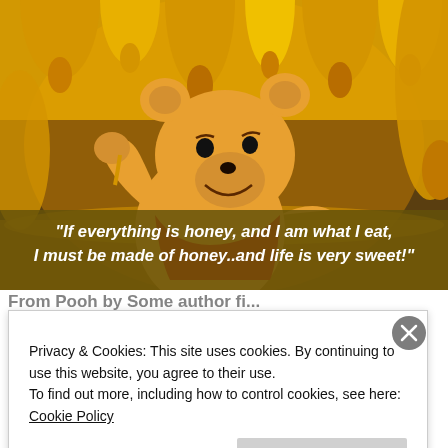[Figure (illustration): Winnie the Pooh cartoon character surrounded by golden dripping honey, with a quote overlay bar at the bottom reading: "If everything is honey, and I am what I eat, I must be made of honey..and life is very sweet!"]
Privacy & Cookies: This site uses cookies. By continuing to use this website, you agree to their use.
To find out more, including how to control cookies, see here: Cookie Policy
Close and accept